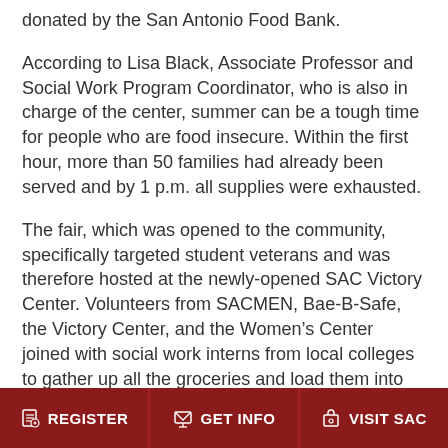donated by the San Antonio Food Bank.
According to Lisa Black, Associate Professor and Social Work Program Coordinator, who is also in charge of the center, summer can be a tough time for people who are food insecure. Within the first hour, more than 50 families had already been served and by 1 p.m. all supplies were exhausted.
The fair, which was opened to the community, specifically targeted student veterans and was therefore hosted at the newly-opened SAC Victory Center. Volunteers from SACMEN, Bae-B-Safe, the Victory Center, and the Women's Center joined with social work interns from local colleges to gather up all the groceries and load them into each car. Even Dr. Robert Vela, President of SAC, stopped by to help
REGISTER | GET INFO | VISIT SAC